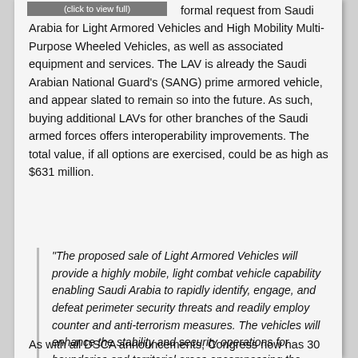[Figure (screenshot): Gray button bar reading '(click to view full)']
formal request from Saudi Arabia for Light Armored Vehicles and High Mobility Multi-Purpose Wheeled Vehicles, as well as associated equipment and services. The LAV is already the Saudi Arabian National Guard's (SANG) prime armored vehicle, and appear slated to remain so into the future. As such, buying additional LAVs for other branches of the Saudi armed forces offers interoperability improvements. The total value, if all options are exercised, could be as high as $631 million.
“The proposed sale of Light Armored Vehicles will provide a highly mobile, light combat vehicle capability enabling Saudi Arabia to rapidly identify, engage, and defeat perimeter security threats and readily employ counter and anti-terrorism measures. The vehicles will enhance the stability and security operations for boundaries and territorial areas encompassing the Arabian Peninsula.”
As with all DSCA announcements, Congress now has 30